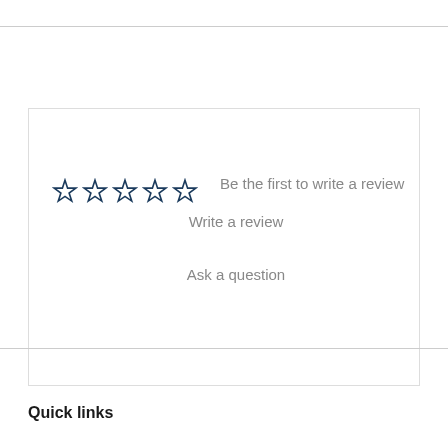Customer Reviews
☆☆☆☆☆  Be the first to write a review
Write a review
Ask a question
Quick links